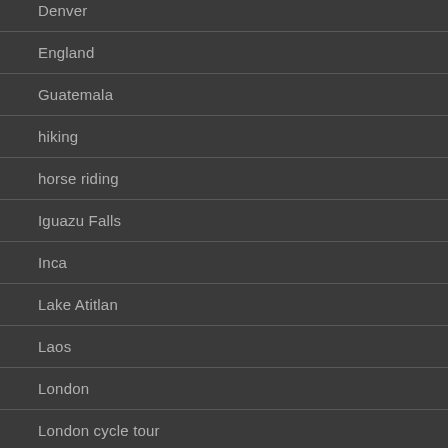Denver
England
Guatemala
hiking
horse riding
Iguazu Falls
Inca
Lake Atitlan
Laos
London
London cycle tour
Mendoza